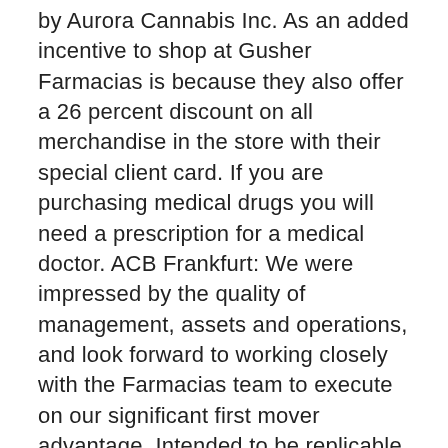by Aurora Cannabis Inc. As an added incentive to shop at Gusher Farmacias is because they also offer a 26 percent discount on all merchandise in the store with their special client card. If you are purchasing medical drugs you will need a prescription for a medical doctor. ACB Frankfurt: We were impressed by the quality of management, assets and operations, and look forward to working closely with the Farmacias team to execute on our significant first mover advantage. Intended to be replicable and scalable globally, our production facilities are designed to produce cannabis of significant scale, with high quality, industry-leading yields, and low per gram production costs. The assumptions inherent in these forward looking statements are subject to risks, including, but not limited to; the entering into a definitive agreement with Farmacias and the closing of the transaction, the variety and quantity of cannabis products that Aurora will supply to Farmacias being approved by the applicable regulatory authorities, the risks associated with the establishment of riff at a far producer to...